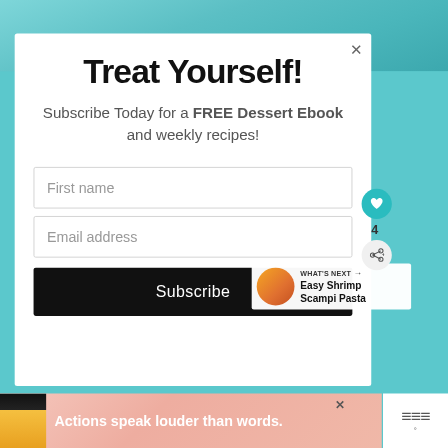[Figure (screenshot): Teal/blue patterned background visible at top of page behind modal]
Treat Yourself!
Subscribe Today for a FREE Dessert Ebook and weekly recipes!
First name
Email address
Subscribe
[Figure (infographic): What's Next panel showing Easy Shrimp Scampi Pasta with food thumbnail]
[Figure (infographic): Bottom advertisement banner: Actions speak louder than words. with person illustration and logo]
WHAT'S NEXT → Easy Shrimp Scampi Pasta
Actions speak louder than words.